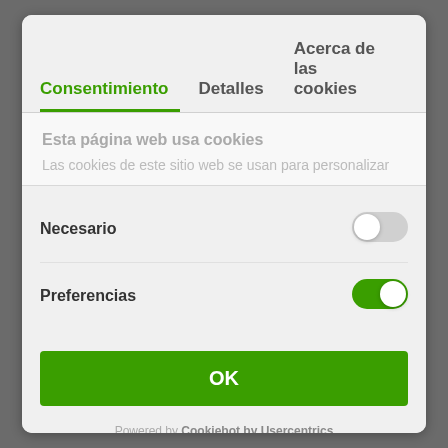Consentimiento | Detalles | Acerca de las cookies
Esta página web usa cookies
Las cookies de este sitio web se usan para personalizar
Necesario
Preferencias
OK
Powered by Cookiebot by Usercentrics